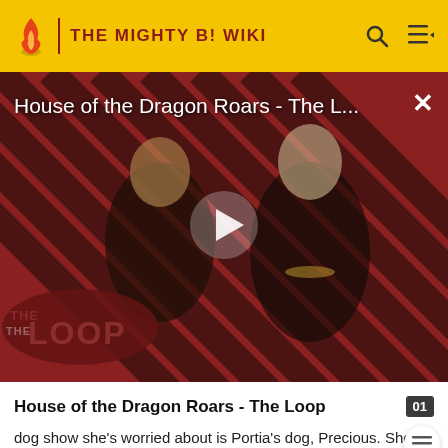THE MIGHTY B! WIKI
[Figure (screenshot): Video thumbnail for 'House of the Dragon Roars - The L...' showing two characters from the show against a red and black diagonal stripe background with 'THE LOOP' text overlay and a play button in the center.]
House of the Dragon Roars - The Loop
dog show she's worried about is Portia's dog, Precious. She thinks that she has an excellent chance of winning the Animal Appreciation Badge. While she got bathing Happy, she told him that they have a color-coded training